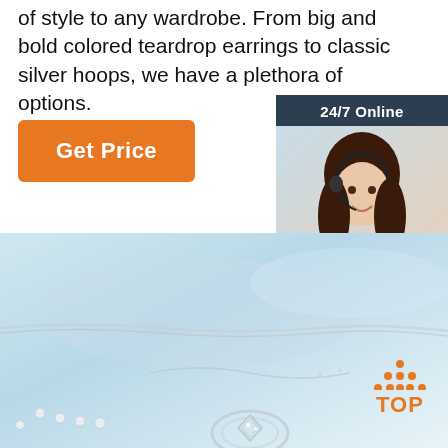of style to any wardrobe. From big and bold colored teardrop earrings to classic silver hoops, we have a plethora of options.
[Figure (other): Orange 'Get Price' button]
[Figure (other): 24/7 Online chat widget with customer service agent photo, 'Click here for free chat!' text and orange QUOTATION button]
[Figure (photo): Light blue background with silver jewelry (necklace and ring with diamonds) visible at bottom of page]
[Figure (other): Orange 'TOP' logo with dot triangle above text in bottom right corner]